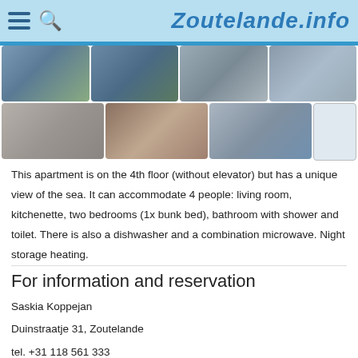Zoutelande.info
[Figure (photo): Grid of apartment photos: living room, sofa area, exterior views, bedroom, bunk bed, bathroom with shower, floor plan]
This apartment is on the 4th floor (without elevator) but has a unique view of the sea. It can accommodate 4 people: living room, kitchenette, two bedrooms (1x bunk bed), bathroom with shower and toilet. There is also a dishwasher and a combination microwave. Night storage heating.
For information and reservation
Saskia Koppejan
Duinstraatje 31, Zoutelande
tel. +31 118 561 333